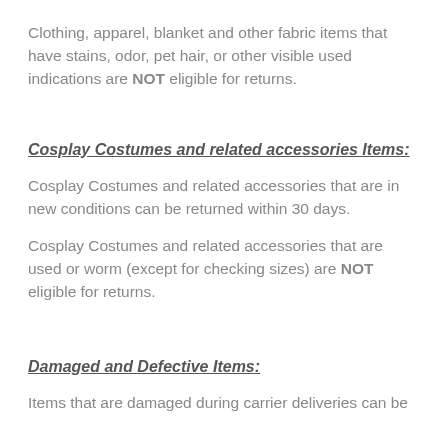Clothing, apparel, blanket and other fabric items that have stains, odor, pet hair, or other visible used indications are NOT eligible for returns.
Cosplay Costumes and related accessories Items:
Cosplay Costumes and related accessories that are in new conditions can be returned within 30 days.
Cosplay Costumes and related accessories that are used or worm (except for checking sizes) are NOT eligible for returns.
Damaged and Defective Items:
Items that are damaged during carrier deliveries can be